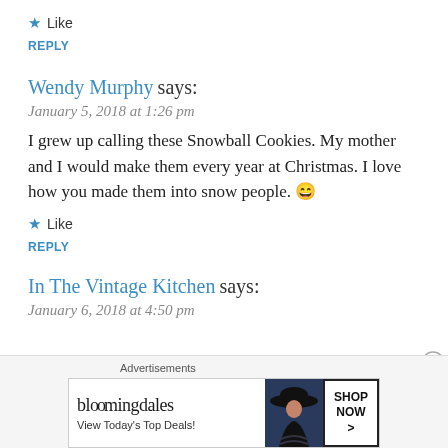★ Like
REPLY
Wendy Murphy says:
January 5, 2018 at 1:26 pm
I grew up calling these Snowball Cookies. My mother and I would make them every year at Christmas. I love how you made them into snow people. 😄
★ Like
REPLY
In The Vintage Kitchen says:
January 6, 2018 at 4:50 pm
[Figure (other): Bloomingdale's advertisement banner with woman in hat and 'SHOP NOW >' button. Text: bloomingdales, View Today's Top Deals!]